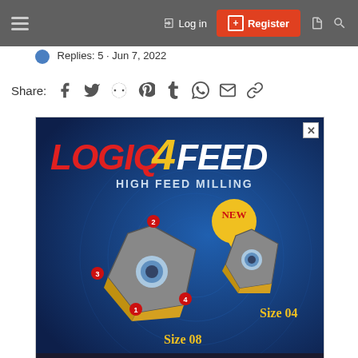Log in | Register
Replies: 5 · Jun 7, 2022
Share:
[Figure (advertisement): LOGIQ4FEED High Feed Milling advertisement by Iscar/Neologiq showing two milling inserts (Size 08 and Size 04), labeled with numbered points 1-4, with NEW badge. Footer shows NeoLogiq Machining Intelligently and Iscar logos.]